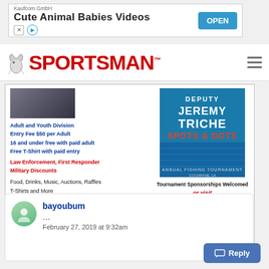[Figure (screenshot): Ad banner: Kaufcom GmbH – Cute Animal Babies Videos with OPEN button]
[Figure (logo): Sportsman magazine logo with bird icon and red text]
[Figure (screenshot): Deputy Jeremy Triche Spots & Dots Annual Fishing Tournament advertisement]
Adult and Youth Division
Entry Fee $50 per Adult
16 and under free with paid adult
Free T-Shirt with paid entry
Law Enforcement, First Responder
Military Discounts
Food, Drinks, Music, Auctions, Raffles
T-Shirts and More
For more information contact:
Mike Triche    985-212-4313
Edie Triche    985-212-0601
Brian Bertrand    504-628-0418
Jared Triche    504-235-2815
Tournament Sponsorships Welcomed
or visit
www.jeremytrichehero.org
bayoubum
...
February 27, 2019 at 9:32am